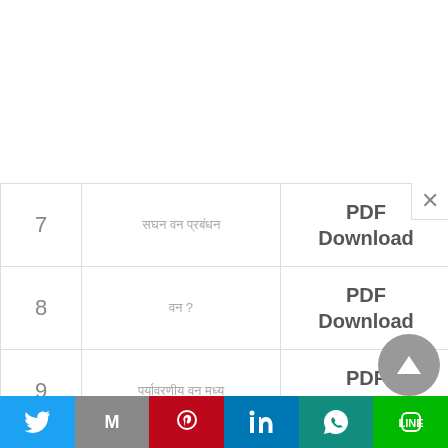| # | Title | Download |
| --- | --- | --- |
| 7 | सघन वन प्रबंधन | PDF Download |
| 8 | वन ?  | PDF Download |
| 9 | पर्यावरणीय वन मध्य | PDF Download |
| 10 | पथ्थर पत्थर पहाड़ पत्थर | PDF Download |
| 11 | परिवेश का परस | PDF |